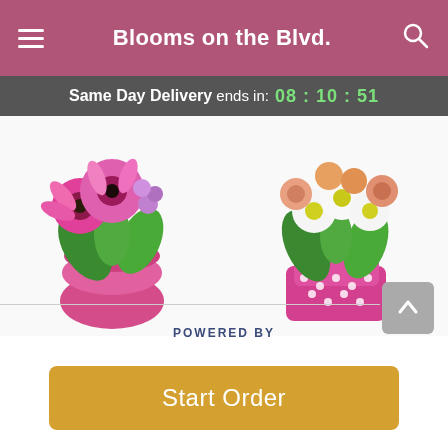Blooms on the Blvd.
Same Day Delivery ends in: 08 : 10 : 51
[Figure (photo): Vibrant Blush flower arrangement - pink gerbera daisies and purple flowers in a round pink vase]
Vibrant Blush
From $36.95
[Figure (photo): Bubble Gum Bliss floral arrangement - white daisies, peach roses, and orange blooms in a pink polka-dot boot-shaped vase]
Bubble Gum Bliss™
From $52.95
POWERED BY
Start Order